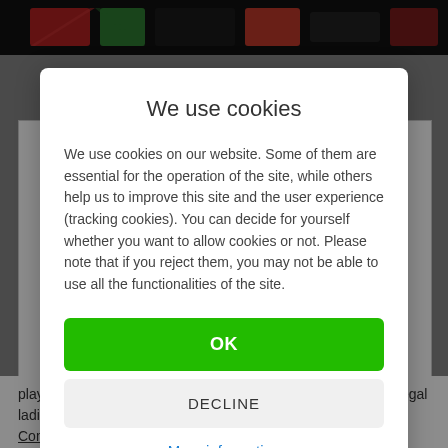[Figure (photo): Top banner image with colorful design on dark background — website header area]
We use cookies
We use cookies on our website. Some of them are essential for the operation of the site, while others help us to improve this site and the user experience (tracking cookies). You can decide for yourself whether you want to allow cookies or not. Please note that if you reject them, you may not be able to use all the functionalities of the site.
OK
DECLINE
More information
players played their parts over the weekend, well done to Donegal ladies on winning the ladies title on Sunday.
Cone Hayes 4 O'Donnells 3